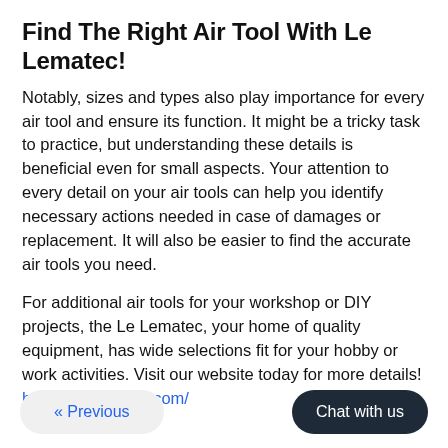Find The Right Air Tool With Le Lematec!
Notably, sizes and types also play importance for every air tool and ensure its function. It might be a tricky task to practice, but understanding these details is beneficial even for small aspects. Your attention to every detail on your air tools can help you identify necessary actions needed in case of damages or replacement. It will also be easier to find the accurate air tools you need.
For additional air tools for your workshop or DIY projects, the Le Lematec, your home of quality equipment, has wide selections fit for your hobby or work activities. Visit our website today for more details! https://proairtools.com/